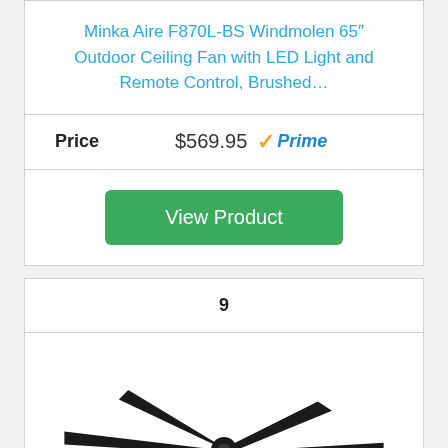Minka Aire F870L-BS Windmolen 65" Outdoor Ceiling Fan with LED Light and Remote Control, Brushed…
| Price | $569.95 Prime |
| --- | --- |
View Product
9
[Figure (photo): A black ceiling fan with 6 blades and a light, viewed from above at an angle, on white background]